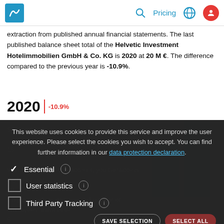Implisense — Pricing — Navigation bar with logo, search, Pricing, globe, user icons
extraction from published annual financial statements. The last published balance sheet total of the Helvetic Investment Hotelimmobilien GmbH & Co. KG is 2020 at 20 M €. The difference compared to the previous year is -10.9%.
2020 | -10.9%
This website uses cookies to provide this service and improve the user experience. Please select the cookies you wish to accept. You can find further information in our data protection declaration.
Essential
User statistics
Third Party Tracking
SAVE SELECTION   SELECT ALL